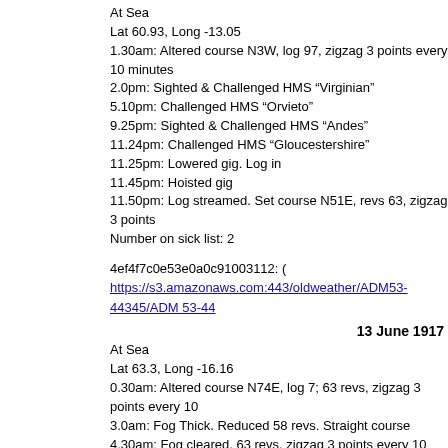At Sea
Lat 60.93, Long -13.05
1.30am: Altered course N3W, log 97, zigzag 3 points every 10 minutes
2.0pm: Sighted & Challenged HMS “Virginian”
5.10pm: Challenged HMS “Orvieto”
9.25pm: Sighted & Challenged HMS “Andes”
11.24pm: Challenged HMS “Gloucestershire”
11.25pm: Lowered gig. Log in
11.45pm: Hoisted gig
11.50pm: Log streamed. Set course N51E, revs 63, zigzag 3 points
Number on sick list: 2
4ef4f7c0e53e0a0c91003112: (
https://s3.amazonaws.com:443/oldweather/ADM53-44345/ADM 53-44...
13 June 1917
At Sea
Lat 63.3, Long -16.16
0.30am: Altered course N74E, log 7; 63 revs, zigzag 3 points every 10
3.0am: Fog Thick. Reduced 58 revs. Straight course
4.30am: Fog cleared, 63 revs, zigzag 3 points every 10 minutes
11.30am: Sighted Danish SS “Villemoes”, altered course to intercept
11.45am: Lowered seaboat. Log in. Allowed SS to proceed. Copenhag
0.10pm: Set course N51E, 63 revs, log streamed , zigzag 3 points eve
1.30pm: At Rendezvous for trawlers. Various Courses, zigzag 2 points
9.0pm: Closed & examined S/T GY 371. Allowed to proceed. Course N
minutes
10.30pm: Reduced 58 revs, zigzag 2 points. Dense mist
Number on sick list: 2